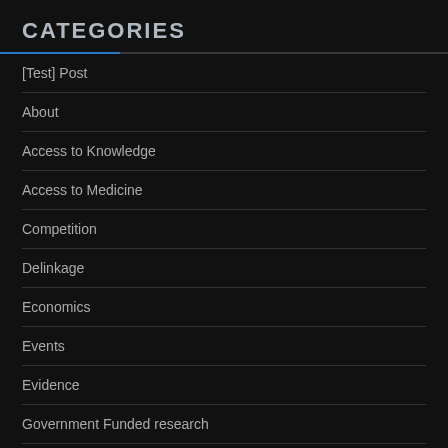CATEGORIES
[Test] Post
About
Access to Knowledge
Access to Medicine
Competition
Delinkage
Economics
Events
Evidence
Government Funded research
influence
Intellectual Property Rights